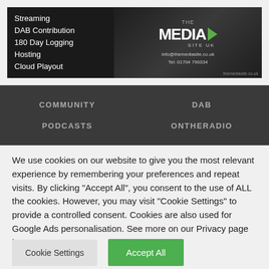[Figure (screenshot): Banner advertisement for The Media Site UK showing services: Streaming, DAB Contribution, 180 Day Logging, Hosting, Cloud Playout. Contact: info@themediasite.co.uk, Tel: 01704 790334, themediasite.co.uk]
[Figure (screenshot): Navigation bar with dark gray background showing four menu items: COMMUNITY, DAB, PODCASTS, ONTHERADIO]
We use cookies on our website to give you the most relevant experience by remembering your preferences and repeat visits. By clicking "Accept All", you consent to the use of ALL the cookies. However, you may visit "Cookie Settings" to provide a controlled consent. Cookies are also used for Google Ads personalisation. See more on our Privacy page here.
Cookie Settings
Accept All